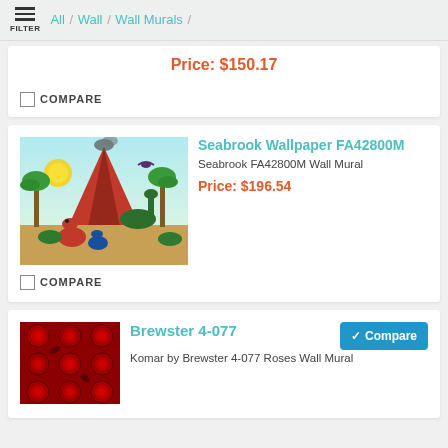FILTER / All / Wall / Wall Murals /
Price: $150.17
COMPARE
Seabrook Wallpaper FA42800M
Seabrook FA42800M Wall Mural
Price: $196.54
COMPARE
Brewster 4-077
Komar by Brewster 4-077 Roses Wall Mural
Compare